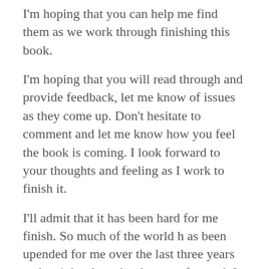I'm hoping that you can help me find them as we work through finishing this book.
I'm hoping that you will read through and provide feedback, let me know of issues as they come up. Don't hesitate to comment and let me know how you feel the book is coming. I look forward to your thoughts and feeling as I work to finish it.
I'll admit that it has been hard for me finish. So much of the world h as been upended for me over the last three years and so it has been hard to stay focused. I hope with your help, that we can keep me on course and that by the end of this summer, we'll have the rewrite done, and I can send it to my editor and have this released by this time next year.
I thank you all for your help.